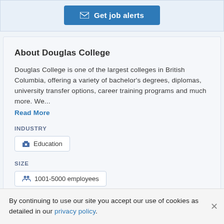[Figure (other): Blue 'Get job alerts' button with envelope icon]
About Douglas College
Douglas College is one of the largest colleges in British Columbia, offering a variety of bachelor's degrees, diplomas, university transfer options, career training programs and much more. We...
Read More
INDUSTRY
Education
SIZE
1001-5000 employees
By continuing to use our site you accept our use of cookies as detailed in our privacy policy.